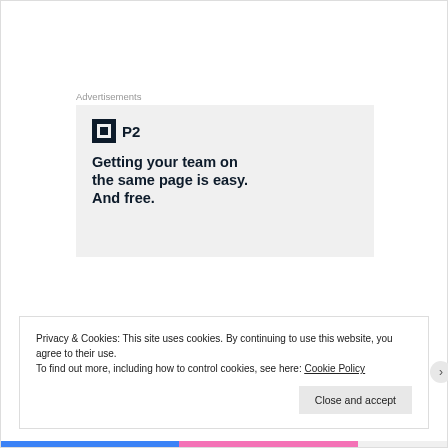Advertisements
[Figure (other): P2 advertisement banner with logo icon and headline: Getting your team on the same page is easy. And free.]
Privacy & Cookies: This site uses cookies. By continuing to use this website, you agree to their use.
To find out more, including how to control cookies, see here: Cookie Policy
Close and accept